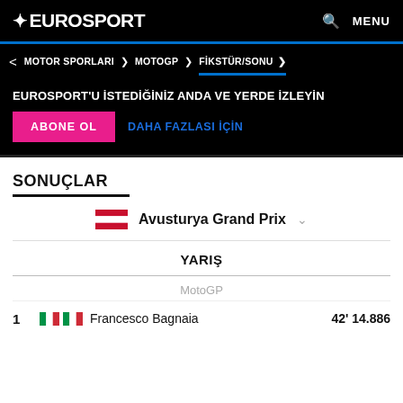EUROSPORT
MOTOR SPORLARI > MOTOGP > FİKSTÜR/SONU >
EUROSPORT'U İSTEDİĞİNİZ ANDA VE YERDE İZLEYİN
ABONE OL   DAHA FAZLASI İÇİN
SONUÇLAR
Avusturya Grand Prix
YARIŞ
MotoGP
1   Francesco Bagnaia   42' 14.886